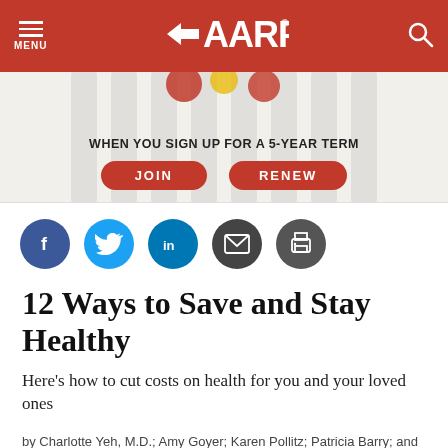AARP
[Figure (infographic): AARP advertisement banner with decorative red and gold ornaments on vertical bars. Text: WHEN YOU SIGN UP FOR A 5-YEAR TERM. Two red oval buttons: JOIN and RENEW.]
[Figure (infographic): Social sharing icons row: Facebook (blue circle with f), Twitter (light blue circle with bird), LinkedIn (dark teal circle with in), Email (dark circle with envelope), Print (dark circle with printer)]
12 Ways to Save and Stay Healthy
Here's how to cut costs on health for you and your loved ones
by Charlotte Yeh, M.D.; Amy Goyer; Karen Pollitz; Patricia Barry; and Jacobo Mintzer, AARP Bulletin, July/August 2016